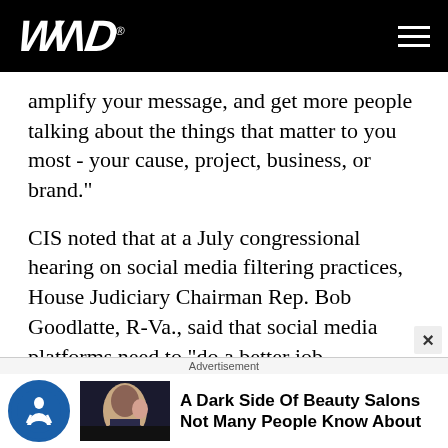WND
amplify your message, and get more people talking about the things that matter to you most - your cause, project, business, or brand."
CIS noted that at a July congressional hearing on social media filtering practices, House Judiciary Chairman Rep. Bob Goodlatte, R-Va., said that social media platforms need to "do a better job explaining how they make decisions to filter content and the rationale for why they do so."
One of the banned tweets:
[Figure (infographic): Advertisement banner: accessibility icon, image of woman at hair salon, text 'A Dark Side Of Beauty Salons Not Many People Know About']